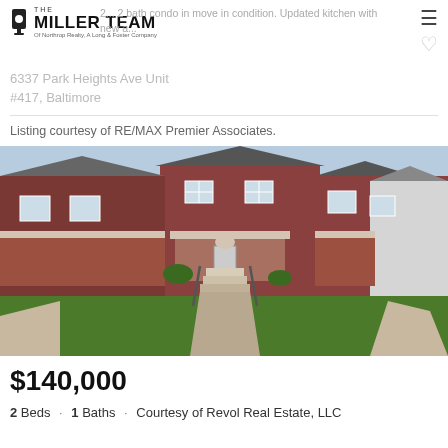The Miller Team of Northrop Realty, A Long & Foster Company
2... 2 bath condo in move in condition. Updated kitchen with new a...
6337 Park Heights Ave Unit #417, Baltimore
Listing courtesy of RE/MAX Premier Associates.
[Figure (photo): Exterior photo of brick rowhouses with green lawn and concrete walkway with steps leading up to front porch]
$140,000
2 Beds · 1 Baths · Courtesy of Revol Real Estate, LLC